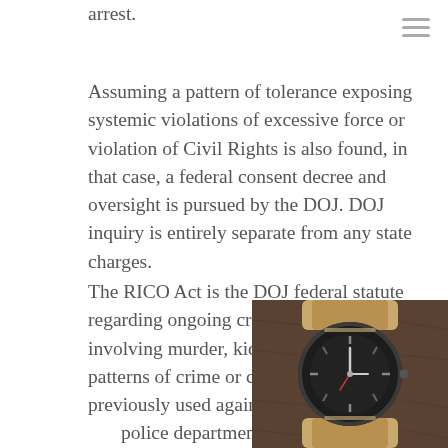arrest.
Assuming a pattern of tolerance exposing systemic violations of excessive force or violation of Civil Rights is also found, in that case, a federal consent decree and oversight is pursued by the DOJ. DOJ inquiry is entirely separate from any state charges.
The RICO Act is the DOJ federal statute regarding ongoing criminal enterprises involving murder, kidnapping, and other patterns of crime or corruption. Thus, previously used against police personnel and police departments when a widespread and systemic commission or tolerance of excessive force and other crimes existed within a police
[Figure (photo): A vintage wristwatch with a dark dial on a tan/khaki NATO strap, photographed on a wooden surface.]